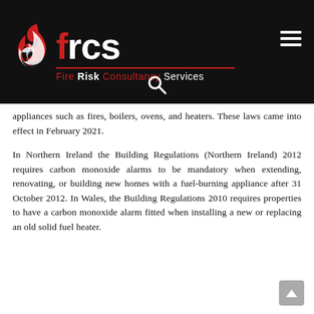[Figure (logo): FRCS Fire Risk Consultancy Services logo on black background with red flame icon and hamburger menu icon, plus search icon below]
appliances such as fires, boilers, ovens, and heaters. These laws came into effect in February 2021.
In Northern Ireland the Building Regulations (Northern Ireland) 2012 requires carbon monoxide alarms to be mandatory when extending, renovating, or building new homes with a fuel-burning appliance after 31 October 2012. In Wales, the Building Regulations 2010 requires properties to have a carbon monoxide alarm fitted when installing a new or replacing an old solid fuel heater.